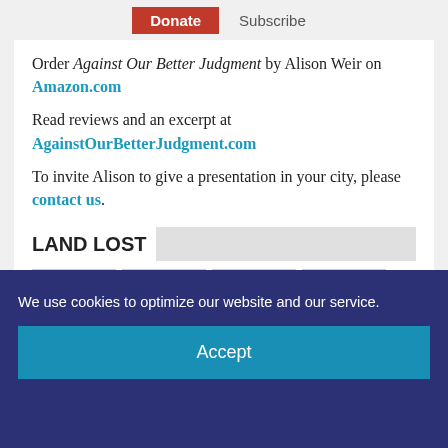Donate  Subscribe
Order Against Our Better Judgment by Alison Weir on Amazon.com
Read reviews and an excerpt at AgainstOurBetterJudgment.com
To invite Alison to give a presentation in your city, please contact us.
LAND LOST
[Figure (map): Four small maps showing land lost by Palestinians over time, with green and white areas indicating Palestinian land and Israeli/Jewish settlements.]
We use cookies to optimize our website and our service.
Accept